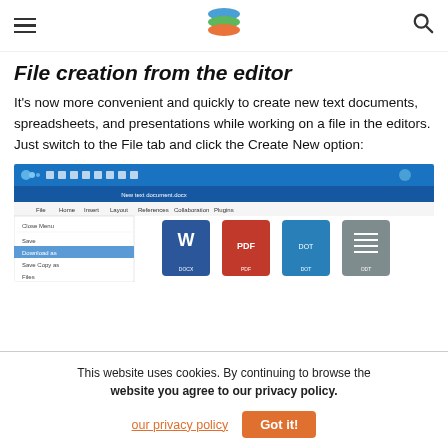Navigation bar with hamburger menu, stacked layers logo, and search icon
File creation from the editor
It’s now more convenient and quickly to create new text documents, spreadsheets, and presentations while working on a file in the editors. Just switch to the File tab and click the Create New option:
[Figure (screenshot): Screenshot of an office document editor showing the File menu open with options including Close Menu, Save, Download as (highlighted), Save Copy as, Files. The main area shows file format icons: DOCX (blue W), PDF (red), DOT (teal), ODT (grey).]
This website uses cookies. By continuing to browse the website you agree to our privacy policy.
our privacy policy   Got it!